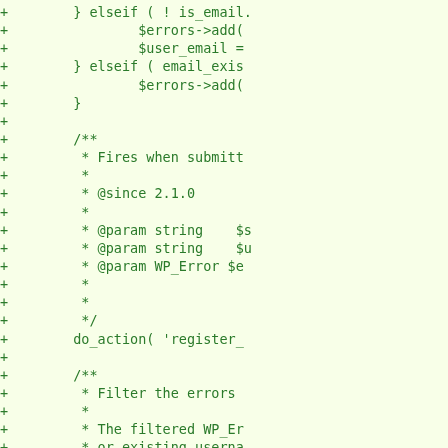[Figure (screenshot): Code diff screenshot showing PHP code additions (lines prefixed with +) on a light yellow-green background. The code shows elseif conditions, error handling with $errors->add(), $user_email assignment, a PHPDoc comment block with @since 2.1.0 and @param tags, do_action call for 'register_', and another PHPDoc block for filtering errors with @since 2.1.0 and @param WP_Error. All text is in green monospace font.]